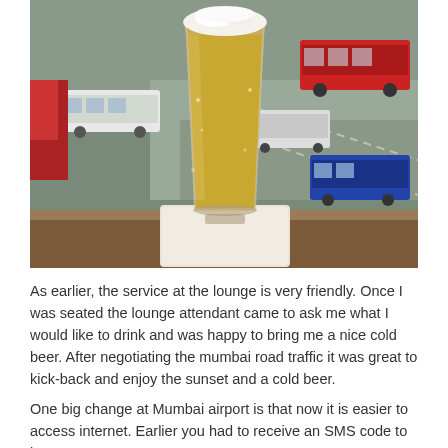[Figure (photo): A tall glass of cold beer with foam on top, sitting on a white paper napkin on a wooden table. In the background through a window, a bus terminal or airport drop-off area is visible with multiple buses and vehicles on a road.]
As earlier, the service at the lounge is very friendly. Once I was seated the lounge attendant came to ask me what I would like to drink and was happy to bring me a nice cold beer. After negotiating the mumbai road traffic it was great to kick-back and enjoy the sunset and a cold beer.
One big change at Mumbai airport is that now it is easier to access internet. Earlier you had to receive an SMS code to log on